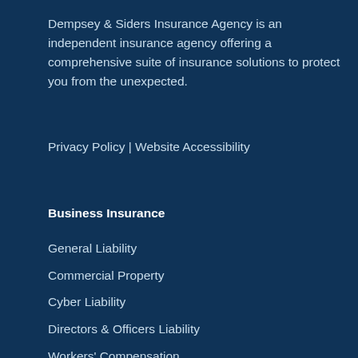Dempsey & Siders Insurance Agency is an independent insurance agency offering a comprehensive suite of insurance solutions to protect you from the unexpected.
Privacy Policy | Website Accessibility
Business Insurance
General Liability
Commercial Property
Cyber Liability
Directors & Officers Liability
Workers' Compensation